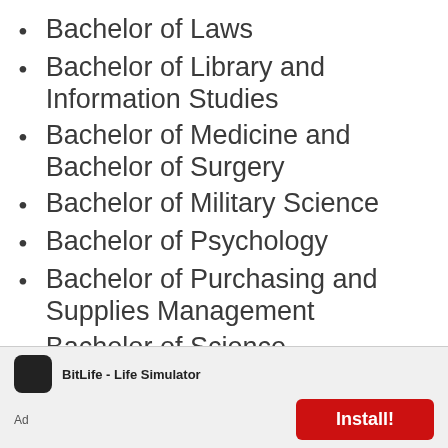Bachelor of Laws
Bachelor of Library and Information Studies
Bachelor of Medicine and Bachelor of Surgery
Bachelor of Military Science
Bachelor of Psychology
Bachelor of Purchasing and Supplies Management
Bachelor of Science
Bachelor of Science in Clinical Medicine